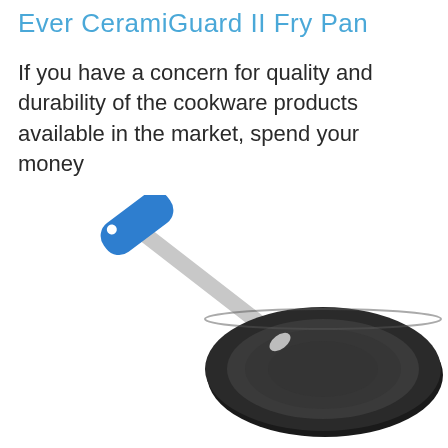Ever CeramiGuard II Fry Pan
If you have a concern for quality and durability of the cookware products available in the market, spend your money
[Figure (photo): A frying pan with a dark non-stick cooking surface and a blue silicone handle with a silver/grey metal shaft, viewed from above at a slight angle.]